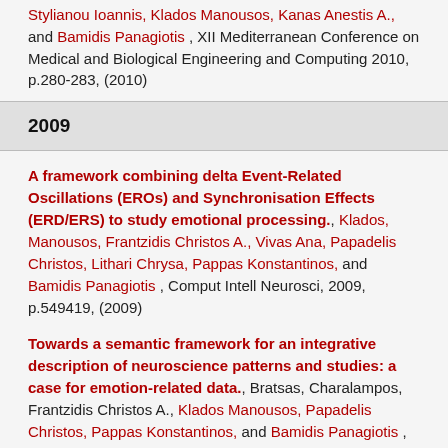Stylianou Ioannis, Klados Manousos, Kanas Anestis A., and Bamidis Panagiotis , XII Mediterranean Conference on Medical and Biological Engineering and Computing 2010, p.280-283, (2010)
2009
A framework combining delta Event-Related Oscillations (EROs) and Synchronisation Effects (ERD/ERS) to study emotional processing., Klados, Manousos, Frantzidis Christos A., Vivas Ana, Papadelis Christos, Lithari Chrysa, Pappas Konstantinos, and Bamidis Panagiotis , Comput Intell Neurosci, 2009, p.549419, (2009)
Towards a semantic framework for an integrative description of neuroscience patterns and studies: a case for emotion-related data., Bratsas, Charalampos, Frantzidis Christos A., Klados Manousos, Papadelis Christos, Pappas Konstantinos, and Bamidis Panagiotis , Stud Health Technol Inform, 2009, Volume 150, p.322-6, (2009)